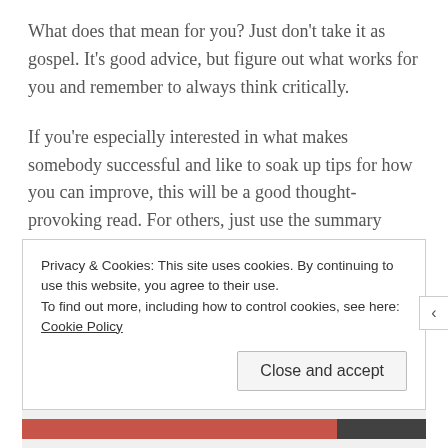What does that mean for you? Just don't take it as gospel. It's good advice, but figure out what works for you and remember to always think critically.
If you're especially interested in what makes somebody successful and like to soak up tips for how you can improve, this will be a good thought-provoking read. For others, just use the summary below.
II. Summary
Privacy & Cookies: This site uses cookies. By continuing to use this website, you agree to their use.
To find out more, including how to control cookies, see here: Cookie Policy